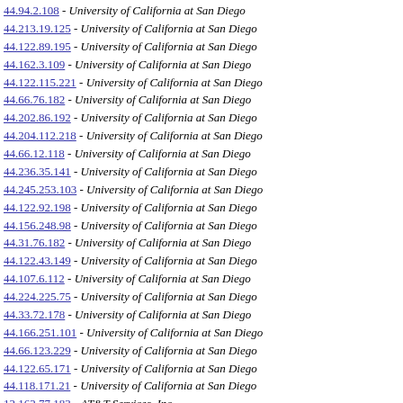44.94.2.108 - University of California at San Diego
44.213.19.125 - University of California at San Diego
44.122.89.195 - University of California at San Diego
44.162.3.109 - University of California at San Diego
44.122.115.221 - University of California at San Diego
44.66.76.182 - University of California at San Diego
44.202.86.192 - University of California at San Diego
44.204.112.218 - University of California at San Diego
44.66.12.118 - University of California at San Diego
44.236.35.141 - University of California at San Diego
44.245.253.103 - University of California at San Diego
44.122.92.198 - University of California at San Diego
44.156.248.98 - University of California at San Diego
44.31.76.182 - University of California at San Diego
44.122.43.149 - University of California at San Diego
44.107.6.112 - University of California at San Diego
44.224.225.75 - University of California at San Diego
44.33.72.178 - University of California at San Diego
44.166.251.101 - University of California at San Diego
44.66.123.229 - University of California at San Diego
44.122.65.171 - University of California at San Diego
44.118.171.21 - University of California at San Diego
12.162.77.183 - AT&T Services, Inc.
44.225.72.178 - University of California at San Diego
44.40.201.51 - University of California at San Diego
44.44.154.4 - University of California at San Diego
44.101.200.50 - University of California at San Diego
44.62.12.118 - University of California at San Diego
44.214.74.180 - University of California at San Diego
44.45.100.206 - University of California at San Diego